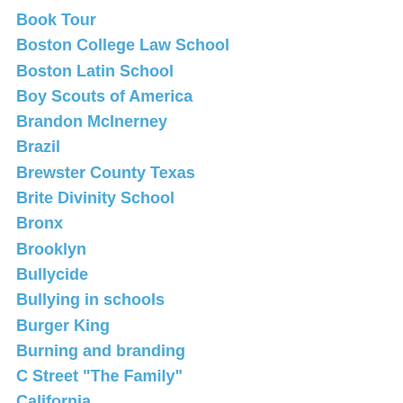Book Tour
Boston College Law School
Boston Latin School
Boy Scouts of America
Brandon McInerney
Brazil
Brewster County Texas
Brite Divinity School
Bronx
Brooklyn
Bullycide
Bullying in schools
Burger King
Burning and branding
C Street "The Family"
California
Campus Pride
capital punishment
Carolyn Wagner
Carthage